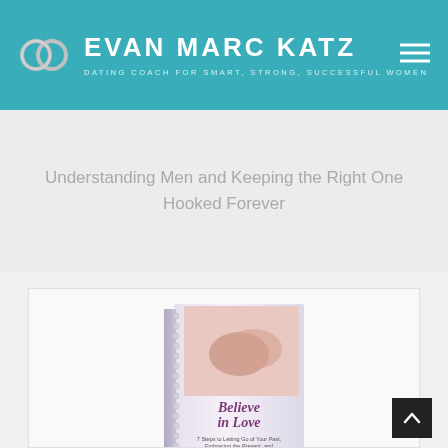EVAN MARC KATZ — DATING COACH FOR SMART, STRONG, SUCCESSFUL WOMEN
Understanding Men and Keeping the Right One Hooked Forever
[Figure (photo): Book cover of 'Believe in Love' by Evan Marc Katz, showing two people holding hands, with spiral binding visible]